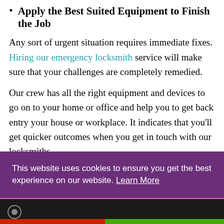Apply the Best Suited Equipment to Finish the Job
Any sort of urgent situation requires immediate fixes. Hiring our emergency locksmith service will make sure that your challenges are completely remedied.
Our crew has all the right equipment and devices to go on to your home or office and help you to get back entry your house or workplace. It indicates that you’ll get quicker outcomes when you get in touch with our locksmiths.
This website uses cookies to ensure you get the best experience on our website. Learn More
Got it!